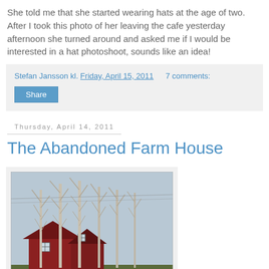She told me that she started wearing hats at the age of two. After I took this photo of her leaving the cafe yesterday afternoon she turned around and asked me if I would be interested in a hat photoshoot, sounds like an idea!
Stefan Jansson kl. Friday, April 15, 2011   7 comments:
Share
Thursday, April 14, 2011
The Abandoned Farm House
[Figure (photo): Photo of an abandoned red farm house surrounded by bare birch trees in early spring, grey sky]